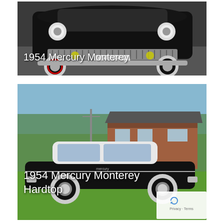[Figure (photo): Front view of a black 1954 Mercury Monterey with white wall tires on a road, with text overlay '1954 Mercury Monterey']
[Figure (photo): Side view of a black 1954 Mercury Monterey Hardtop parked on grass in front of a brick house, with text overlay '1954 Mercury Monterey Hardtop' and a reCAPTCHA badge in the bottom-right corner]